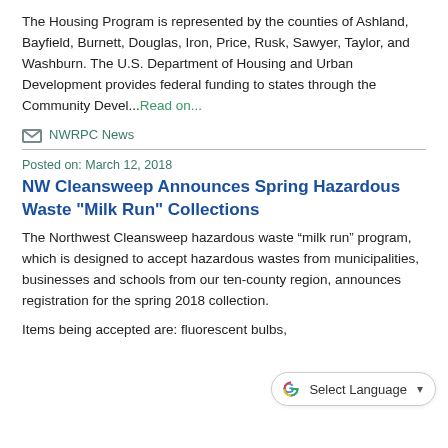The Housing Program is represented by the counties of Ashland, Bayfield, Burnett, Douglas, Iron, Price, Rusk, Sawyer, Taylor, and Washburn. The U.S. Department of Housing and Urban Development provides federal funding to states through the Community Devel...Read on...
NWRPC News
Posted on: March 12, 2018
NW Cleansweep Announces Spring Hazardous Waste "Milk Run" Collections
The Northwest Cleansweep hazardous waste “milk run” program, which is designed to accept hazardous wastes from municipalities, businesses and schools from our ten-county region, announces registration for the spring 2018 collection.
Items being accepted are: fluorescent bulbs,